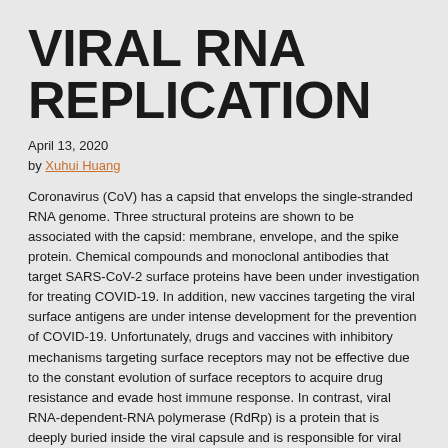VIRAL RNA REPLICATION
April 13, 2020
by Xuhui Huang
Coronavirus (CoV) has a capsid that envelops the single-stranded RNA genome. Three structural proteins are shown to be associated with the capsid: membrane, envelope, and the spike protein. Chemical compounds and monoclonal antibodies that target SARS-CoV-2 surface proteins have been under investigation for treating COVID-19.  In addition, new vaccines targeting the viral surface antigens are under intense development for the prevention of COVID-19.  Unfortunately, drugs and vaccines with inhibitory mechanisms targeting surface receptors may not be effective due to the constant evolution of surface receptors to acquire drug resistance and evade host immune response.  In contrast, viral RNA-dependent-RNA polymerase (RdRp) is a protein that is deeply buried inside the viral capsule and is responsible for viral replication. Furthermore, the functional conservation of the RdRp renders it highly resistant to mutations.  Hence, RdRp serves as a